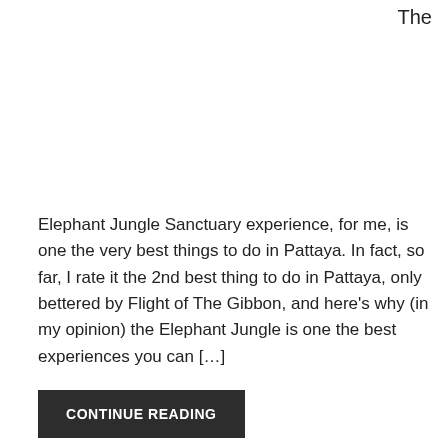The
Elephant Jungle Sanctuary experience, for me, is one the very best things to do in Pattaya. In fact, so far, I rate it the 2nd best thing to do in Pattaya, only bettered by Flight of The Gibbon, and here’s why (in my opinion) the Elephant Jungle is one the best experiences you can […]
CONTINUE READING